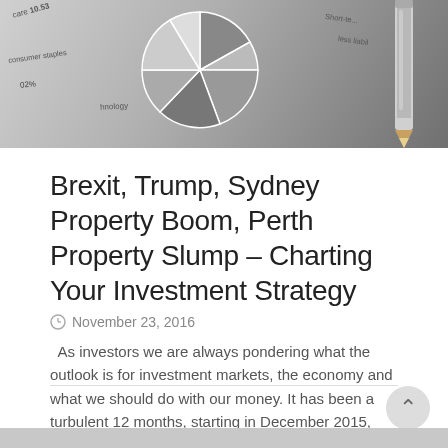[Figure (photo): Black and white photo of financial charts including a pie chart and a pencil/pen, with text labels like 'consumer staples', 'care', 'technology', 'Short-term liabilities']
Brexit, Trump, Sydney Property Boom, Perth Property Slump – Charting Your Investment Strategy
November 23, 2016
As investors we are always pondering what the outlook is for investment markets, the economy and what we should do with our money. It has been a turbulent 12 months, starting in December 2015, with the first interest rate...
Read more